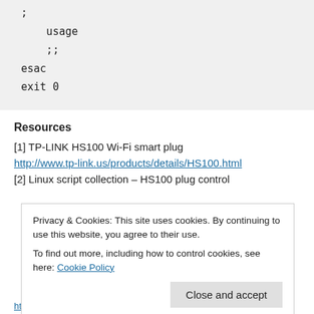;
    usage
    ;;
esac
exit 0
Resources
[1] TP-LINK HS100 Wi-Fi smart plug
http://www.tp-link.us/products/details/HS100.html
[2] Linux script collection – HS100 plug control
Privacy & Cookies: This site uses cookies. By continuing to use this website, you agree to their use.
To find out more, including how to control cookies, see here: Cookie Policy
https://hub.docker.com/repository/docker/georgovassins